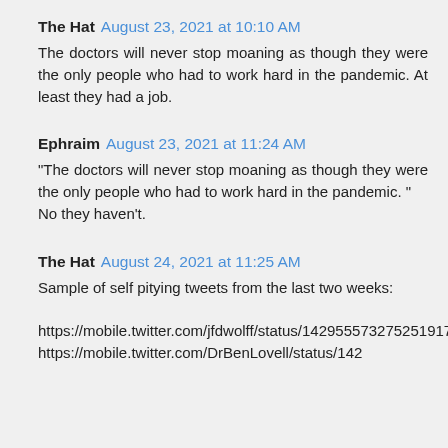The Hat  August 23, 2021 at 10:10 AM
The doctors will never stop moaning as though they were the only people who had to work hard in the pandemic. At least they had a job.
Ephraim  August 23, 2021 at 11:24 AM
"The doctors will never stop moaning as though they were the only people who had to work hard in the pandemic. "
No they haven't.
The Hat  August 24, 2021 at 11:25 AM
Sample of self pitying tweets from the last two weeks:

https://mobile.twitter.com/jfdwolff/status/1429555732752519171
https://mobile.twitter.com/DrBenLovell/status/142